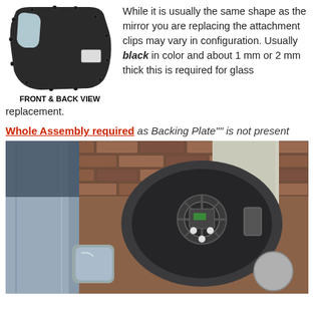[Figure (photo): Front and back view of a car mirror backing plate - dark colored plastic piece shown from both sides]
FRONT & BACK VIEW
While it is usually the same shape as the mirror you are replacing the attachment clips may vary in configuration. Usually black in color and about 1 mm or 2 mm thick this is required for glass replacement.
Whole Assembly required as Backing Plate"" is not present
[Figure (photo): Photograph of a car door mirror assembly with the glass removed, showing the internal mechanism and mounting hardware. A grey circle color swatch is visible in the bottom right corner.]